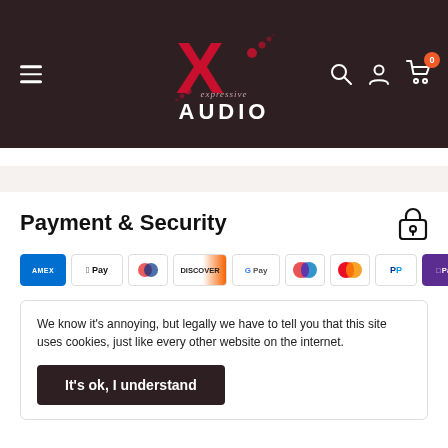[Figure (logo): Expressive Audio logo with red X and white AUDIO text on dark brown background]
Payment & Security
[Figure (infographic): Payment method icons: AMEX, Apple Pay, Diners Club, Discover, Google Pay, Maestro, Mastercard, PayPal, Shop Pay]
We know it's annoying, but legally we have to tell you that this site uses cookies, just like every other website on the internet.
It's ok, I understand